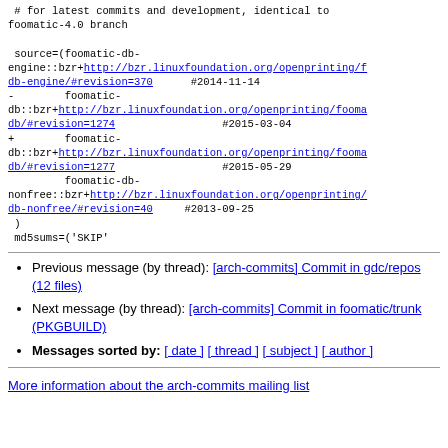# for latest commits and development, identical to foomatic-4.0 branch

source=(foomatic-db-engine::bzr+http://bzr.linuxfoundation.org/openprinting/foomatic/db-engine/#revision=370  #2014-11-14
-         foomatic-db::bzr+http://bzr.linuxfoundation.org/openprinting/foomatic/db/#revision=1274                 #2015-03-04
+         foomatic-db::bzr+http://bzr.linuxfoundation.org/openprinting/foomatic/db/#revision=1277                 #2015-05-29
          foomatic-db-nonfree::bzr+http://bzr.linuxfoundation.org/openprinting/foomatic/db-nonfree/#revision=40   #2013-09-25
)
 md5sums=('SKIP'
Previous message (by thread): [arch-commits] Commit in gdc/repos (12 files)
Next message (by thread): [arch-commits] Commit in foomatic/trunk (PKGBUILD)
Messages sorted by: [ date ] [ thread ] [ subject ] [ author ]
More information about the arch-commits mailing list